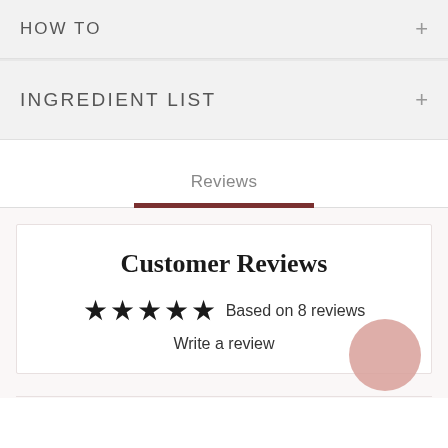HOW TO
INGREDIENT LIST
Reviews
Customer Reviews
★★★★★ Based on 8 reviews
Write a review